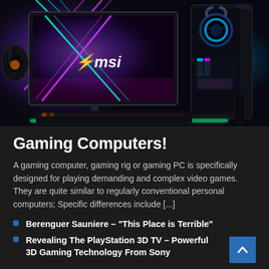[Figure (photo): MSI gaming computer setup with RGB lighting: a monitor displaying MSI branding with colorful laser/neon background, a gaming PC tower with visible RGB-lit components and cooling system, and gaming peripherals including headset and keyboard.]
Gaming Computers!
A gaming computer, gaming rig or gaming PC is specifically designed for playing demanding and complex video games. They are quite similar to regularly conventional personal computers; Specific differences include [...]
Berenguer Sauniere – "This Place is Terrible"
Revealing The PlayStation 3D TV – Powerful 3D Gaming Technology From Sony